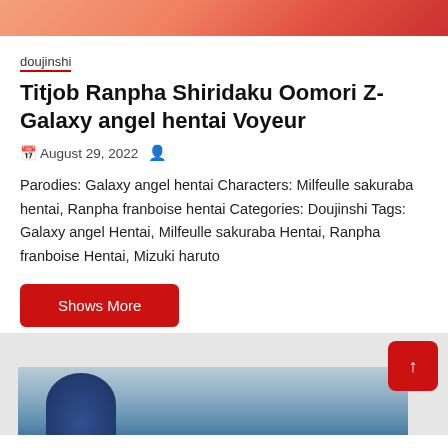[Figure (illustration): Top partial anime illustration with warm orange/red tones]
doujinshi
Titjob Ranpha Shiridaku Oomori Z-Galaxy angel hentai Voyeur
August 29, 2022
Parodies: Galaxy angel hentai Characters: Milfeulle sakuraba hentai, Ranpha franboise hentai Categories: Doujinshi Tags: Galaxy angel Hentai, Milfeulle sakuraba Hentai, Ranpha franboise Hentai, Mizuki haruto
Shows More
[Figure (illustration): Bottom partial anime illustration with blue/teal tones]